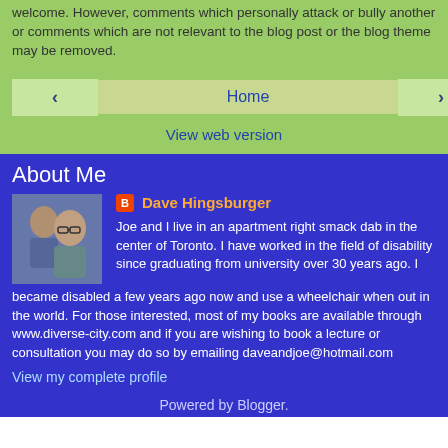welcome. However, comments which personally attack or bully another or comments which are not relevant to the blog post or the blog theme may be removed.
‹  Home  ›  View web version
About Me
[Figure (photo): Profile photo of two people]
Dave Hingsburger
Joe and I live in an apartment right smack dab in the center of Toronto. I have worked in the field of disability since graduating from university over 30 years ago. I became disabled a few years ago now and use a wheelchair when out in the world. For those interested, most of my books are available through www.diverse-city.com and if you are wishing to book a lecture or consultation you may do so by emailing daveandjoe@hotmail.com
View my complete profile
Powered by Blogger.